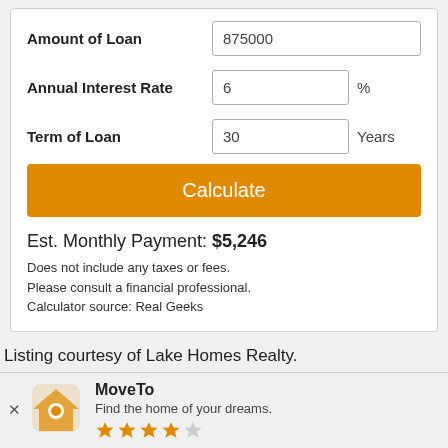Amount of Loan: 875000
Annual Interest Rate: 6 %
Term of Loan: 30 Years
Calculate
Est. Monthly Payment: $5,246
Does not include any taxes or fees.
Please consult a financial professional.
Calculator source: Real Geeks
Listing courtesy of Lake Homes Realty.
MoveTo
Find the home of your dreams.
Use App